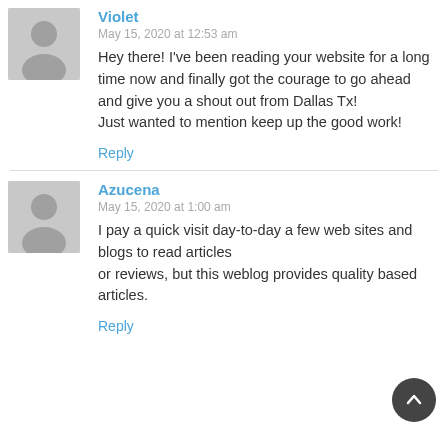Violet
May 15, 2020 at 12:53 am
Hey there! I've been reading your website for a long time now and finally got the courage to go ahead and give you a shout out from Dallas Tx!
Just wanted to mention keep up the good work!
Reply
Azucena
May 15, 2020 at 1:00 am
I pay a quick visit day-to-day a few web sites and blogs to read articles or reviews, but this weblog provides quality based articles.
Reply